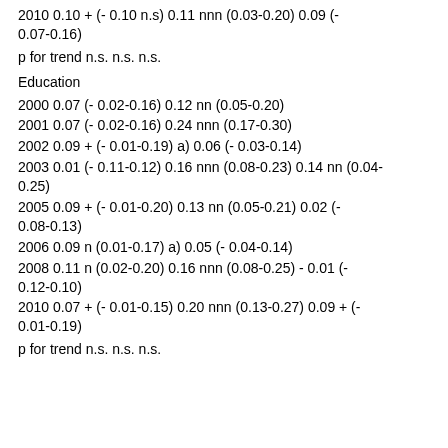2010 0.10 + (- 0.10 n.s) 0.11 nnn (0.03-0.20) 0.09 (- 0.07-0.16)
p for trend n.s. n.s. n.s.
Education
2000 0.07 (- 0.02-0.16) 0.12 nn (0.05-0.20)
2001 0.07 (- 0.02-0.16) 0.24 nnn (0.17-0.30)
2002 0.09 + (- 0.01-0.19) a) 0.06 (- 0.03-0.14)
2003 0.01 (- 0.11-0.12) 0.16 nnn (0.08-0.23) 0.14 nn (0.04-0.25)
2005 0.09 + (- 0.01-0.20) 0.13 nn (0.05-0.21) 0.02 (- 0.08-0.13)
2006 0.09 n (0.01-0.17) a) 0.05 (- 0.04-0.14)
2008 0.11 n (0.02-0.20) 0.16 nnn (0.08-0.25) - 0.01 (- 0.12-0.10)
2010 0.07 + (- 0.01-0.15) 0.20 nnn (0.13-0.27) 0.09 + (- 0.01-0.19)
p for trend n.s. n.s. n.s.